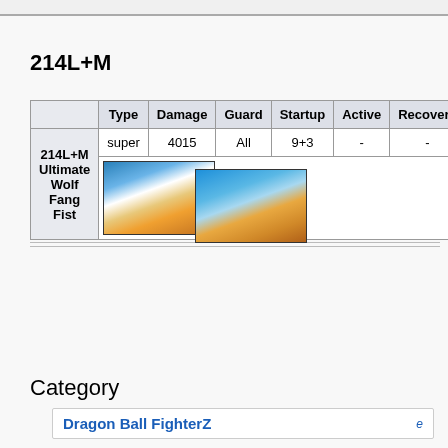214L+M
|  | Type | Damage | Guard | Startup | Active | Recovery |
| --- | --- | --- | --- | --- | --- | --- |
| 214L+M Ultimate Wolf Fang Fist | super | 4015 | All | 9+3 | - | - |
[Figure (photo): Two screenshots from Dragon Ball FighterZ showing Ultimate Wolf Fang Fist move]
Category
Dragon Ball FighterZ